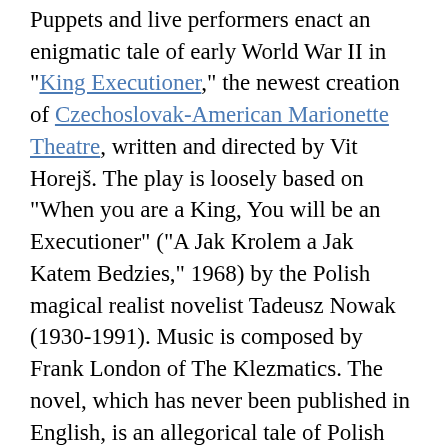Puppets and live performers enact an enigmatic tale of early World War II in "King Executioner," the newest creation of Czechoslovak-American Marionette Theatre, written and directed by Vit Horejš. The play is loosely based on "When you are a King, You will be an Executioner" ("A Jak Krolem a Jak Katem Bedzies," 1968) by the Polish magical realist novelist Tadeusz Nowak (1930-1991). Music is composed by Frank London of The Klezmatics. The novel, which has never been published in English, is an allegorical tale of Polish peasant life in the early days of World War II. The book unfolds like a 20th century folk tale, narrating a farm boy's bumpy journey to manhood. The boy, goes to fight with the partisans after the German invasion and his patriotic duty compels him to kill two neighbors he's known all his life. As he faces decisions about life and death for others, his story becomes a parable on the complex truths of existence